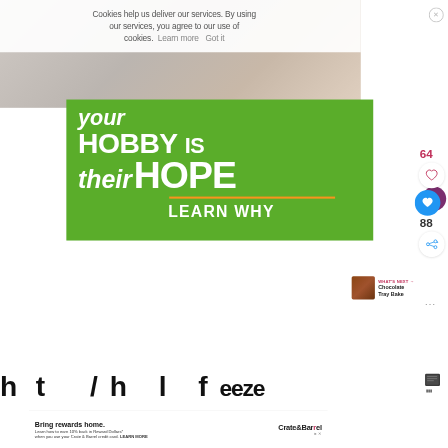Cookies help us deliver our services. By using our services, you agree to our use of cookies. Learn more  Got it
[Figure (illustration): Green promotional banner with white text reading 'your HOBBY is their HOPE' with orange underline and 'LEARN WHY' button, overlaid on a background photo of hands]
64
[Figure (infographic): Heart icon (outline) in white circle for likes]
[Figure (infographic): Heart icon (filled white) in blue circle for reactions]
88
[Figure (infographic): Share icon in white circle]
WHAT'S NEXT → Chocolate Tray Bake
h...t.../...h...l...f...eeze
Bring rewards home. Learn how to earn 10% back in Reward Dollars* when you use your Crate & Barrel credit card. LEARN MORE
Crate&Barrel